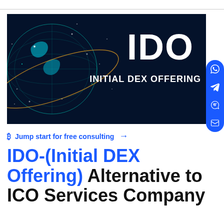[Figure (illustration): Dark blue hero banner with a glowing teal digital globe on the left and large white bold text 'IDO' and 'INITIAL DEX OFFERING' on the right against a dark navy background]
₿ Jump start for free consulting →
IDO-(Initial DEX Offering) Alternative to ICO Services Company